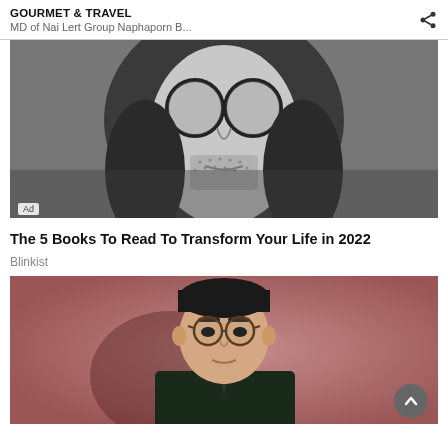GOURMET & TRAVEL
MD of Nai Lert Group Naphaporn B...
[Figure (photo): Black and white close-up photo of a man with round glasses, long hair, and stubble beard. An 'Ad' badge appears in the bottom-left corner.]
The 5 Books To Read To Transform Your Life in 2022
Blinkist
[Figure (photo): Color photo of an Asian man wearing round glasses and a dark suit, against a dusty rose/mauve background. A circular scroll-to-top button appears in the bottom-right corner.]